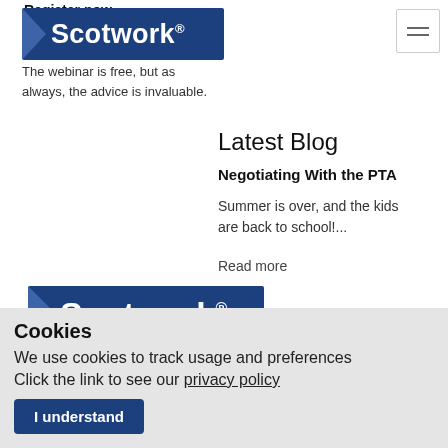Register now
[Figure (logo): Scotwork logo with dark blue background and white arrow on left side]
The webinar is free, but as always, the advice is invaluable.
Latest Blog
Negotiating With the PTA
Summer is over, and the kids are back to school!...
Read more
[Figure (logo): Large Scotwork logo banner with dark blue background]
Terms & Conditions | Privacy Policy |
Cookies
We use cookies to track usage and preferences
Click the link to see our privacy policy